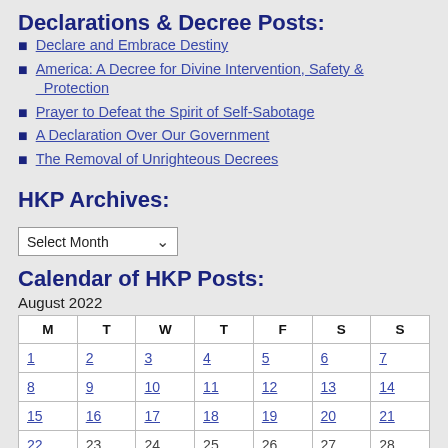Declarations & Decree Posts:
Declare and Embrace Destiny
America: A Decree for Divine Intervention, Safety & Protection
Prayer to Defeat the Spirit of Self-Sabotage
A Declaration Over Our Government
The Removal of Unrighteous Decrees
HKP Archives:
Select Month
Calendar of HKP Posts:
August 2022
| M | T | W | T | F | S | S |
| --- | --- | --- | --- | --- | --- | --- |
| 1 | 2 | 3 | 4 | 5 | 6 | 7 |
| 8 | 9 | 10 | 11 | 12 | 13 | 14 |
| 15 | 16 | 17 | 18 | 19 | 20 | 21 |
| 22 | 23 | 24 | 25 | 26 | 27 | 28 |